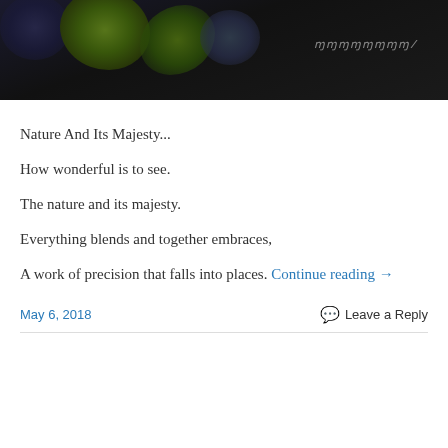[Figure (photo): Dark photograph showing green moss-covered rocks or organic shapes against a black background, with a handwritten signature in the lower right area of the image.]
Nature And Its Majesty...
How wonderful is to see.
The nature and its majesty.
Everything blends and together embraces,
A work of precision that falls into places. Continue reading →
May 6, 2018   Leave a Reply